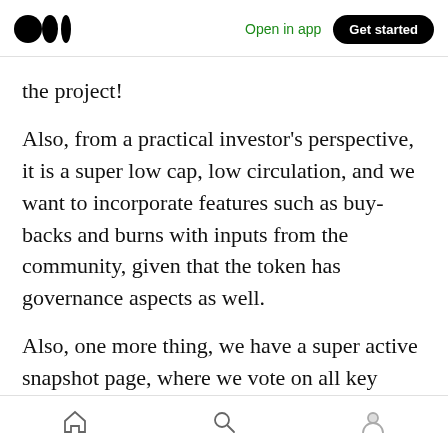Medium — Open in app   Get started
the project!
Also, from a practical investor's perspective, it is a super low cap, low circulation, and we want to incorporate features such as buy-backs and burns with inputs from the community, given that the token has governance aspects as well.
Also, one more thing, we have a super active snapshot page, where we vote on all key decisions including those related to tokenomics such as inflation: https://snapshot.page/#/routerprotocol.eth/pr
Home  Search  Profile